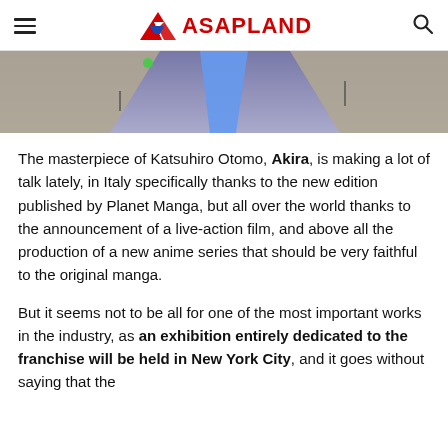ASAPLAND
[Figure (photo): Partial anime scene image, likely from Akira, showing a blue-lit aerial/ground view with purple and beige tones]
The masterpiece of Katsuhiro Otomo, Akira, is making a lot of talk lately, in Italy specifically thanks to the new edition published by Planet Manga, but all over the world thanks to the announcement of a live-action film, and above all the production of a new anime series that should be very faithful to the original manga.
But it seems not to be all for one of the most important works in the industry, as an exhibition entirely dedicated to the franchise will be held in New York City, and it goes without saying that the